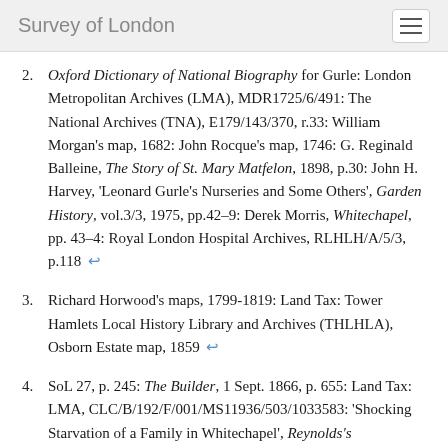Survey of London
Oxford Dictionary of National Biography for Gurle: London Metropolitan Archives (LMA), MDR1725/6/491: The National Archives (TNA), E179/143/370, r.33: William Morgan's map, 1682: John Rocque's map, 1746: G. Reginald Balleine, The Story of St. Mary Matfelon, 1898, p.30: John H. Harvey, 'Leonard Gurle's Nurseries and Some Others', Garden History, vol.3/3, 1975, pp.42–9: Derek Morris, Whitechapel, pp. 43–4: Royal London Hospital Archives, RLHLH/A/5/3, p.118 ↩
Richard Horwood's maps, 1799-1819: Land Tax: Tower Hamlets Local History Library and Archives (THLHLA), Osborn Estate map, 1859 ↩
SoL 27, p. 245: The Builder, 1 Sept. 1866, p. 655: Land Tax: LMA, CLC/B/192/F/001/MS11936/503/1033583: 'Shocking Starvation of a Family in Whitechapel', Reynolds's Newspaper, 26 June 1864: London County Council (LCC) Minutes, 1 Nov 1872, p. 495 ↩